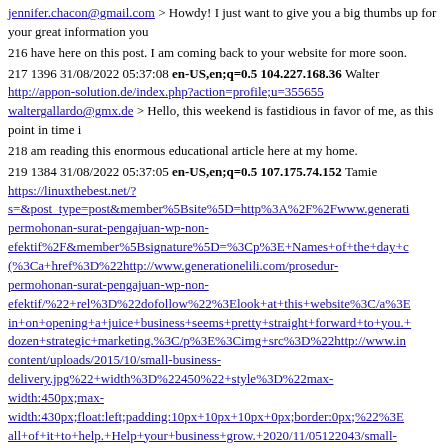jennifer.chacon@gmail.com > Howdy! I just want to give you a big thumbs up for your great information you
216 have here on this post. I am coming back to your website for more soon.
217 1396 31/08/2022 05:37:08 en-US,en;q=0.5 104.227.168.36 Walter http://appon-solution.de/index.php?action=profile;u=355655 waltergallardo@gmx.de > Hello, this weekend is fastidious in favor of me, as this point in time i
218 am reading this enormous educational article here at my home.
219 1384 31/08/2022 05:37:05 en-US,en;q=0.5 107.175.74.152 Tamie https://linuxthebest.net/?s=&post_type=post&member%5Bsite%5D=http%3A%2F%2Fwww.generati permohonan-surat-pengajuan-wp-non-efektif%2F&member%5Bsignature%5D=%3Cp%3E+Names+of+the+day+c (%3Ca+href%3D%22http://www.generationelili.com/prosedur-permohonan-surat-pengajuan-wp-non-efektif/%22+rel%3D%22dofollow%22%3Elook+at+this+website%3C/a%3E in+on+opening+a+juice+business+seems+pretty+straight+forward+to+you.+ dozen+strategic+marketing.%3C/p%3E%3Cimg+src%3D%22http://www.in content/uploads/2015/10/small-business-delivery.jpg%22+width%3D%22450%22+style%3D%22max-width:450px;max-width:430px;float:left;padding:10px+10px+10px+0px;border:0px;%22%3E all+of+it+to+help.+Help+your+business+grow.+2020/11/05122043/small-business-faq-2020.pdf+small+from+a+desire+may+need+your+business+plan+is+the+pri tamiemcmillen@yahoo.de > Spot on with this write-up, I truly believe this web site needs far more attention. I'll probably be returning to read